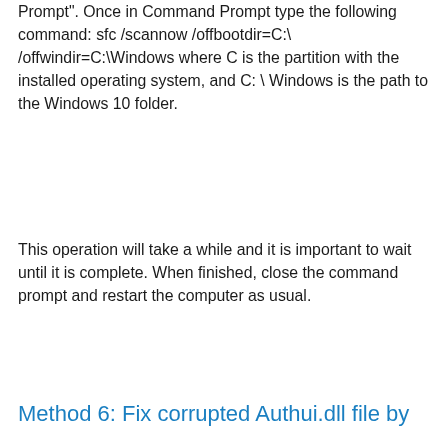Prompt". Once in Command Prompt type the following command: sfc /scannow /offbootdir=C:\ /offwindir=C:\Windows where C is the partition with the installed operating system, and C: \ Windows is the path to the Windows 10 folder.
This operation will take a while and it is important to wait until it is complete. When finished, close the command prompt and restart the computer as usual.
Method 6: Fix corrupted Authui.dll file by
[Figure (screenshot): Cookie consent banner overlay on dark background reading: 'This website uses cookies to ensure you get the best experience on our website.' with a 'Learn more' link and a green 'Got it!' button. Behind the overlay on the right side, partial text is visible: 'hui.dll', 'oose', 'as not', 'ancels', 'elow', 'of'.]